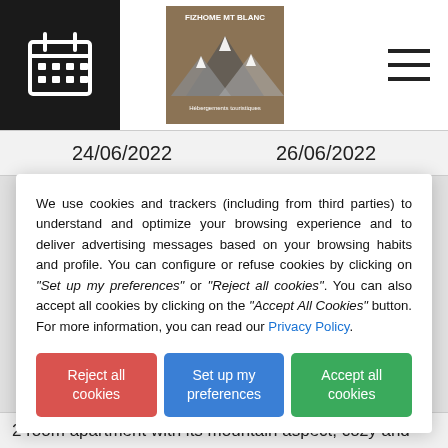[Figure (logo): FIZHOME MT BLANC logo with mountain graphic on wooden background]
24/06/2022    26/06/2022
We use cookies and trackers (including from third parties) to understand and optimize your browsing experience and to deliver advertising messages based on your browsing habits and profile. You can configure or refuse cookies by clicking on "Set up my preferences" or "Reject all cookies". You can also accept all cookies by clicking on the "Accept All Cookies" button. For more information, you can read our Privacy Policy.
Reject all cookies
Set up my preferences
Accept all cookies
2 room apartment with its mountain aspect, cozy and